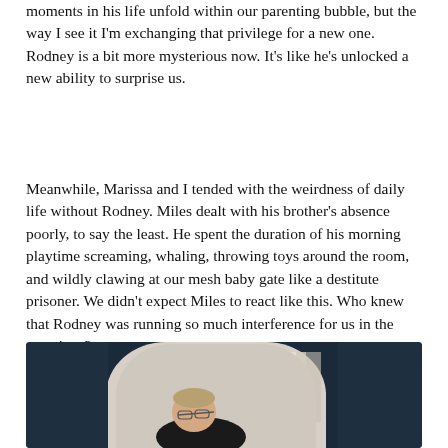moments in his life unfold within our parenting bubble, but the way I see it I'm exchanging that privilege for a new one. Rodney is a bit more mysterious now. It's like he's unlocked a new ability to surprise us.
Meanwhile, Marissa and I tended with the weirdness of daily life without Rodney. Miles dealt with his brother's absence poorly, to say the least. He spent the duration of his morning playtime screaming, whaling, throwing toys around the room, and wildly clawing at our mesh baby gate like a destitute prisoner. We didn't expect Miles to react like this. Who knew that Rodney was running so much interference for us in the mornings?
[Figure (photo): A person with glasses wearing a black shirt, leaning over, photographed through an archway with a white rounded arch frame. The background shows a room with a window and light curtains. The room walls are dark navy blue.]